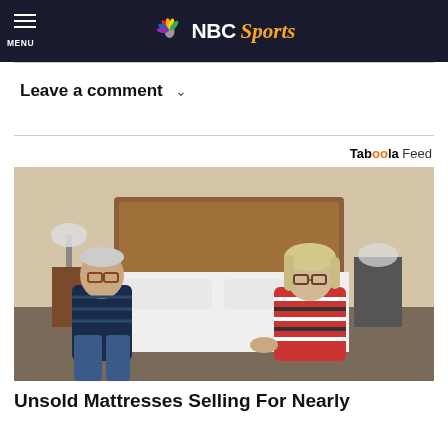NBC Sports
Leave a comment
Taboola Feed
[Figure (photo): An older couple sitting on a bed with a white mattress in a bedroom. The man on the left wears glasses and a navy striped polo shirt. The woman on the right wears glasses and a red and white striped top. There is a wooden headboard behind them, a lamp on a nightstand to the left, and other bedroom furniture visible.]
Unsold Mattresses Selling For Nearly